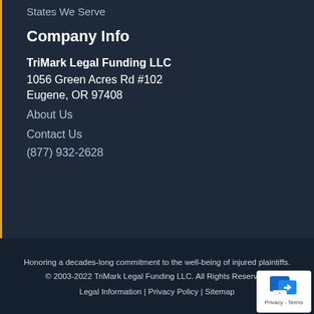States We Serve
Company Info
TriMark Legal Funding LLC
1056 Green Acres Rd #102
Eugene, OR 97408
About Us
Contact Us
(877) 932-2628
Honoring a decades-long commitment to the well-being of injured plaintiffs.
© 2003-2022 TriMark Legal Funding LLC. All Rights Reserved.
Legal Information | Privacy Policy | Sitemap